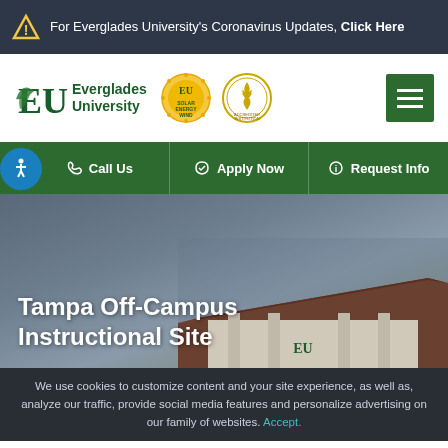For Everglades University's Coronavirus Updates, Click Here
[Figure (logo): Everglades University logo with EU letters and tree leaf, Solar Energy Wind EU badge, and Accreditation Institution badge, plus hamburger menu button]
Call Us   Apply Now   Request Info
Tampa Off-Campus Instructional Site
We use cookies to customize content and your site experience, as well as, analyze our traffic, provide social media features and personalize advertising on our family of websites. Accept.